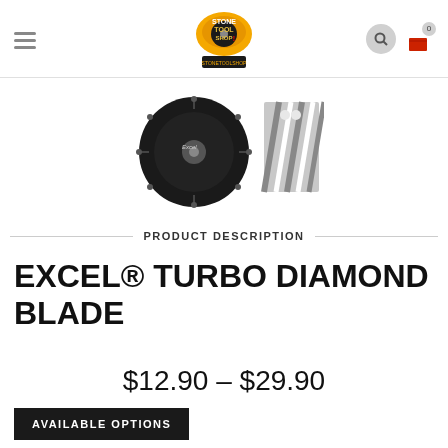Stone Tool Shop navigation header
[Figure (photo): Two product images: a black circular diamond turbo blade on the left, and a close-up of blade segments on the right]
PRODUCT DESCRIPTION
EXCEL® TURBO DIAMOND BLADE
$12.90 – $29.90
AVAILABLE OPTIONS